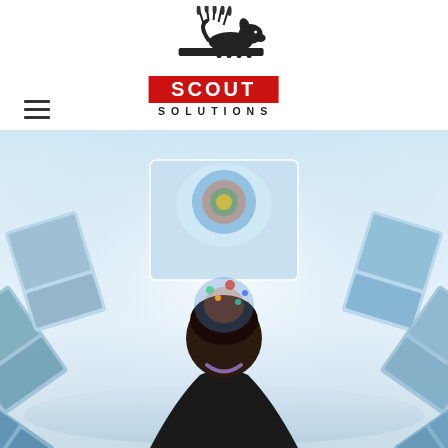[Figure (logo): Scout Solutions logo: black silhouette of a dog on a platform with reeds, above a red rectangle with SCOUT in white bold text, and SOLUTIONS in black bold spaced text below]
[Figure (photo): Hero image: back view of a man in dark suit looking at a circular panoramic array of digital images/photos floating around him, suggesting digital media or information browsing]